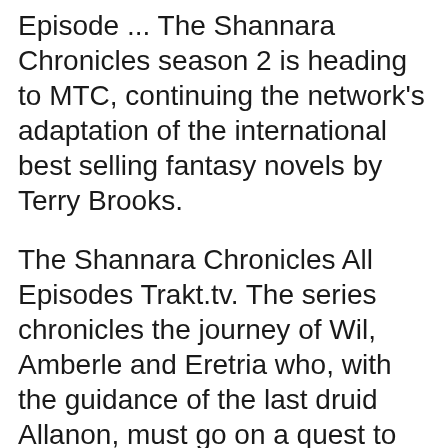Episode ... The Shannara Chronicles season 2 is heading to MTC, continuing the network's adaptation of the international best selling fantasy novels by Terry Brooks.
The Shannara Chronicles All Episodes Trakt.tv. The series chronicles the journey of Wil, Amberle and Eretria who, with the guidance of the last druid Allanon, must go on a quest to protect the Ellcrys from dying and releasing all the banished demons back into the Four Lands. ..., Amberle, Wil and Eretria are forced to overcome their differences to survive the perils of their quest, including the nightmarish Reaper. At the palace, Ander,